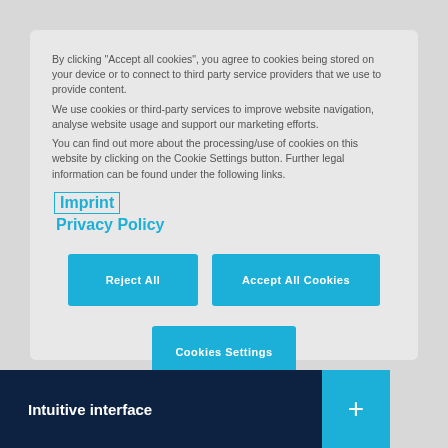By clicking "Accept all cookies", you agree to cookies being stored on your device or to connect to third party service providers that we use to provide content.
We use cookies or third-party services to improve website navigation, analyse website usage and support our marketing efforts.
You can find out more about the processing/use of cookies on this website by clicking on the Cookie Settings button. Further legal information can be found under the following links.
Imprint
Privacy Policy
Reject All
Accept All Cookies
Cookies Settings
Intuitive interface